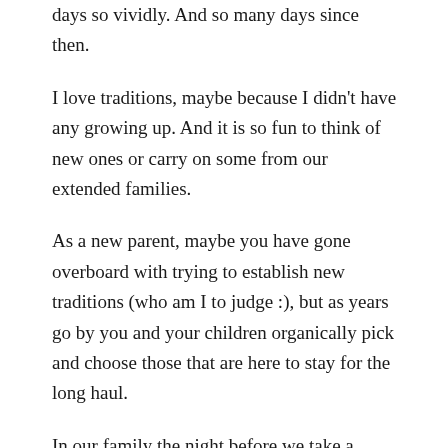days so vividly. And so many days since then.
I love traditions, maybe because I didn't have any growing up. And it is so fun to think of new ones or carry on some from our extended families.
As a new parent, maybe you have gone overboard with trying to establish new traditions (who am I to judge :), but as years go by you and your children organically pick and choose those that are here to stay for the long haul.
In our family the night before we take a video asking our kids what was the best thing about being (in our case) five and what they are most looking forward to when they are six. And then we read It's Your Birthday Little Pookie, by Laura Boynton. On their actual